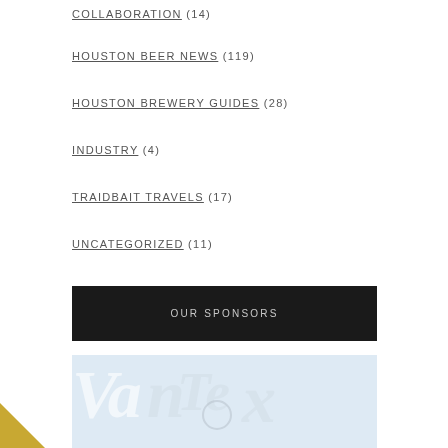COLLABORATION (14)
HOUSTON BEER NEWS (119)
HOUSTON BREWERY GUIDES (28)
INDUSTRY (4)
TRAIDBAIT TRAVELS (17)
UNCATEGORIZED (11)
OUR SPONSORS
[Figure (photo): Sponsor advertisement image with watermark-style script lettering on a light blue background, with a diagonal gold banner in the bottom-left corner reading 'Psst.. Hey, you!']